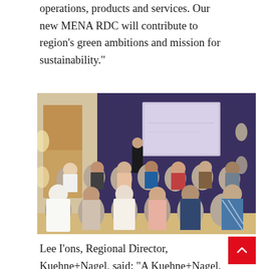operations, products and services. Our new MENA RDC will contribute to region’s green ambitions and mission for sustainability.”
[Figure (photo): A presenter standing on stage before a large projection screen in a conference room, with a seated audience of approximately 30 people attending a Kuehne+Nagel event.]
Lee I’ons, Regional Director, Kuehne+Nagel, said: “A Kuehne+Nagel, we are committed to reaching our ambitious goals of reducing our carbon footprint,